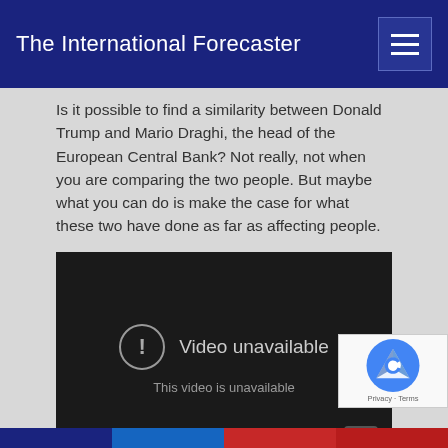The International Forecaster
Is it possible to find a similarity between Donald Trump and Mario Draghi, the head of the European Central Bank?  Not really, not when you are comparing the two people. But maybe what you can do is make the case for what these two have done as far as affecting people.
[Figure (screenshot): Embedded video player showing 'Video unavailable - This video is unavailable' message on a dark background]